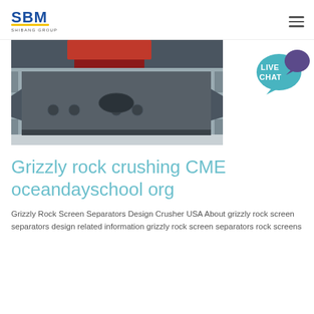SBM SHIBANG GROUP
[Figure (photo): Industrial rock crushing machine, grey metal equipment with structural framework, photographed from the front/side. Red component visible at top.]
[Figure (illustration): Live Chat speech bubble icon in teal/purple color]
Grizzly rock crushing CME oceandayschool org
Grizzly Rock Screen Separators Design Crusher USA About grizzly rock screen separators design related information grizzly rock screen separators rock screens